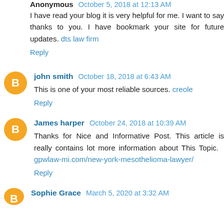Anonymous · October 5, 2018 at 12:13 AM
I have read your blog it is very helpful for me. I want to say thanks to you. I have bookmark your site for future updates. dts law firm
Reply
john smith · October 18, 2018 at 6:43 AM
This is one of your most reliable sources. creole
Reply
James harper · October 24, 2018 at 10:39 AM
Thanks for Nice and Informative Post. This article is really contains lot more information about This Topic. gpwlaw-mi.com/new-york-mesothelioma-lawyer/
Reply
Sophie Grace · March 5, 2020 at 3:32 AM